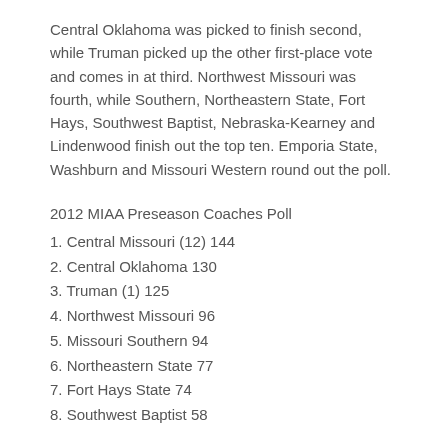Central Oklahoma was picked to finish second, while Truman picked up the other first-place vote and comes in at third. Northwest Missouri was fourth, while Southern, Northeastern State, Fort Hays, Southwest Baptist, Nebraska-Kearney and Lindenwood finish out the top ten. Emporia State, Washburn and Missouri Western round out the poll.
2012 MIAA Preseason Coaches Poll
1. Central Missouri (12) 144
2. Central Oklahoma 130
3. Truman (1) 125
4. Northwest Missouri 96
5. Missouri Southern 94
6. Northeastern State 77
7. Fort Hays State 74
8. Southwest Baptist 58